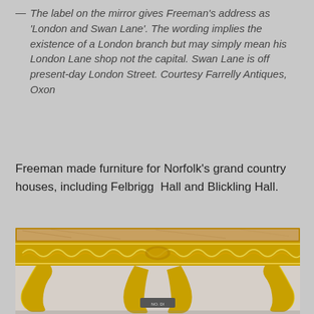— The label on the mirror gives Freeman's address as 'London and Swan Lane'. The wording implies the existence of a London branch but may simply mean his London Lane shop not the capital. Swan Lane is off present-day London Street. Courtesy Farrelly Antiques, Oxon
Freeman made furniture for Norfolk's grand country houses, including Felbrigg Hall and Blickling Hall.
[Figure (photo): Photograph of an ornate gilded console table with elaborate carved rococo decoration on the apron and cabriole legs, with what appears to be a marble or decorative top surface. The table is displayed against a white wall.]